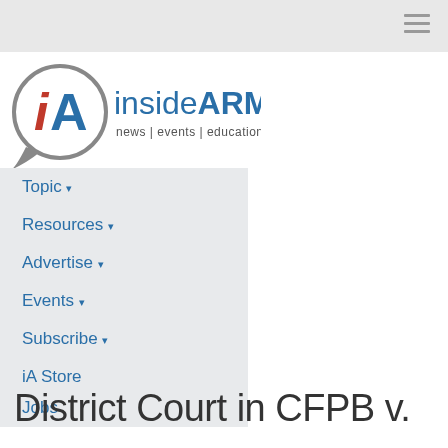[Figure (logo): insideARM logo with circular iA icon and tagline: news | events | education | connection]
Topic ▾
Resources ▾
Advertise ▾
Events ▾
Subscribe ▾
iA Store
Jobs
District Court in CFPB v...